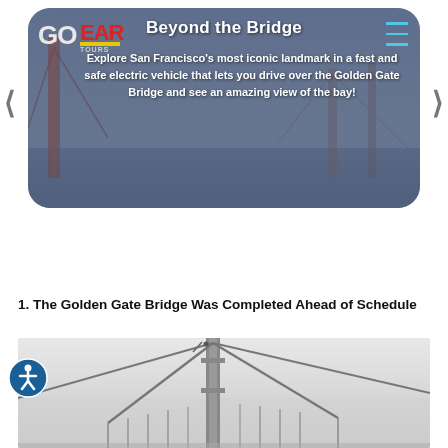[Figure (screenshot): Go Car Tours banner showing the Golden Gate Bridge with overlay text 'Beyond the Bridge' and descriptive text about driving over the Golden Gate Bridge in an electric vehicle. Contains Go Car Tours logo top-left, hamburger menu top-right, and left/right navigation chevrons.]
Beyond the Bridge
Explore San Francisco's most iconic landmark in a fast and safe electric vehicle that lets you drive over the Golden Gate Bridge and see an amazing view of the bay!
1. The Golden Gate Bridge Was Completed Ahead of Schedule
[Figure (photo): Black and white photograph of the Golden Gate Bridge tower and suspension cables]